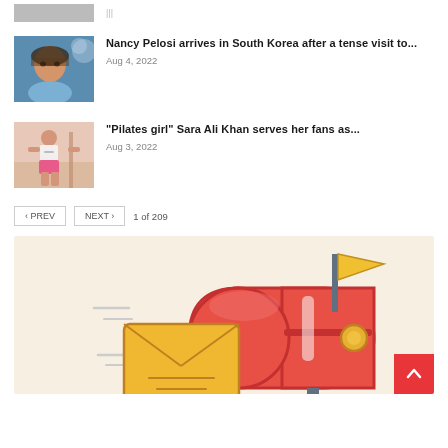[Figure (photo): Partial thumbnail image at top strip]
Nancy Pelosi arrives in South Korea after a tense visit to...
Aug 4, 2022
“Pilates girl” Sara Ali Khan serves her fans as...
Aug 3, 2022
1 of 209
[Figure (illustration): Mailbox illustration: red mailbox with yellow flag and envelope, motion lines, on beige background]